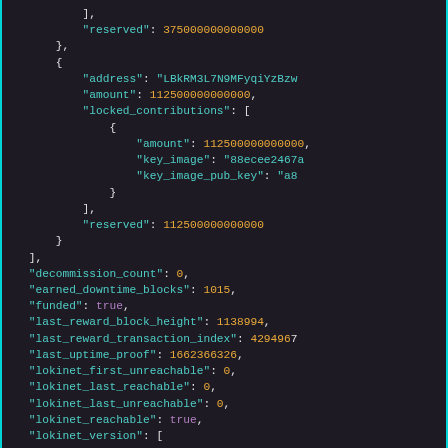[Figure (screenshot): Dark-themed JSON code block showing blockchain/service node data including reserved amounts, locked_contributions, key_image fields, decommission_count, earned_downtime_blocks, funded, last_reward_block_height, last_reward_transaction_index, last_uptime_proof, lokinet fields, and lokinet_version]